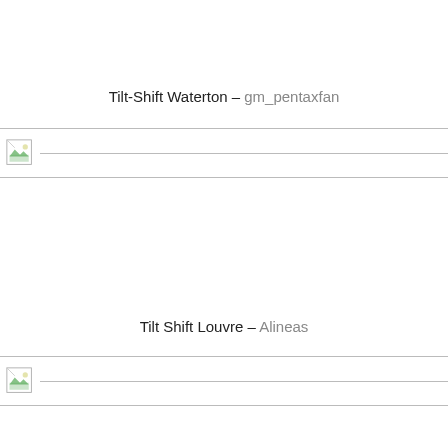Tilt-Shift Waterton – gm_pentaxfan
[Figure (photo): Placeholder image for Tilt-Shift Waterton photo, broken image icon visible]
Tilt Shift Louvre – Alineas
[Figure (photo): Placeholder image for Tilt Shift Louvre photo, broken image icon visible]